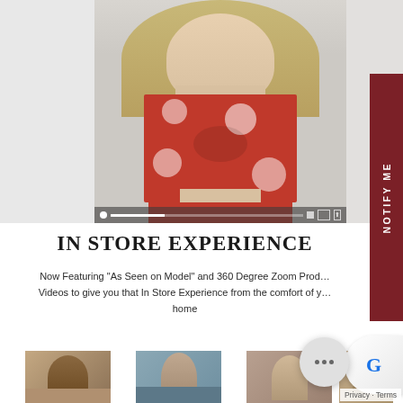[Figure (photo): Fashion model wearing a red floral crop top, shown in a three-panel image layout with gray side panels. A video player bar appears at the bottom of the center panel.]
IN STORE EXPERIENCE
Now Featuring "As Seen on Model" and 360 Degree Zoom Product Videos to give you that In Store Experience from the comfort of your home
[Figure (photo): Four thumbnail images of fashion models at the bottom of the page]
[Figure (other): Chat bubble widget with three dots and reCAPTCHA badge]
Privacy · Terms